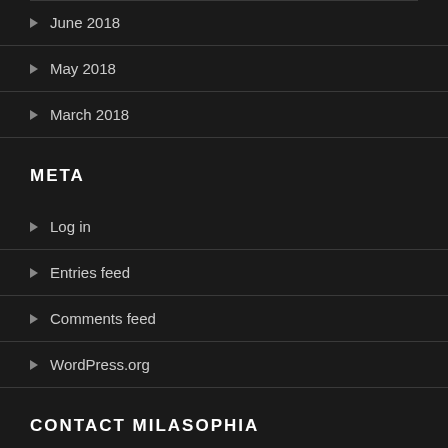June 2018
May 2018
March 2018
META
Log in
Entries feed
Comments feed
WordPress.org
CONTACT MILASOPHIA
Name *